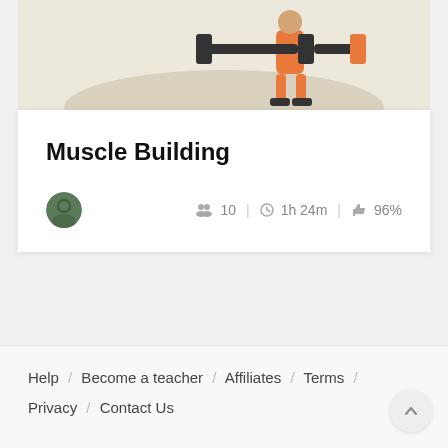[Figure (illustration): Course card illustration showing a fitness/muscle building scene with orange and beige tones on a sandy background]
Muscle Building
[Figure (photo): Small circular avatar photo of a person (instructor)]
10 | 1h 24m | 96%
Help / Become a teacher / Affiliates / Terms / Privacy / Contact Us